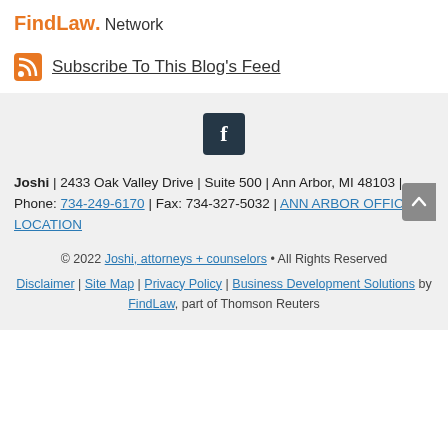[Figure (logo): FindLaw Network logo with orange FindLaw text and dot, followed by 'Network' in dark text]
Subscribe To This Blog's Feed
[Figure (other): Facebook icon — dark blue/teal rounded square with white letter f]
Joshi | 2433 Oak Valley Drive | Suite 500 | Ann Arbor, MI 48103 | Phone: 734-249-6170 | Fax: 734-327-5032 | ANN ARBOR OFFICE LOCATION
© 2022 Joshi, attorneys + counselors • All Rights Reserved
Disclaimer | Site Map | Privacy Policy | Business Development Solutions by FindLaw, part of Thomson Reuters